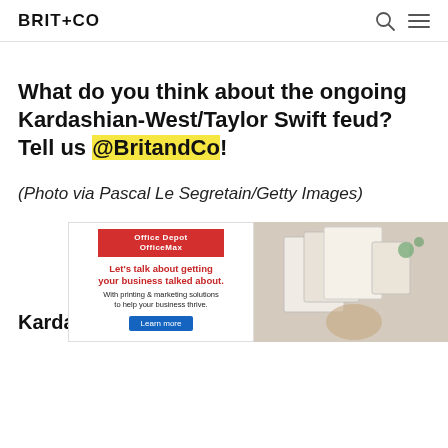BRIT+CO
What do you think about the ongoing Kardashian-West/Taylor Swift feud? Tell us @BritandCo!
(Photo via Pascal Le Segretain/Getty Images)
Kardas
[Figure (other): Advertisement overlay: Office Depot OfficeMax ad saying 'Let's talk about getting your business talked about. With printing & marketing solutions to help your business thrive. Learn more' alongside a photo of business stationery items on a desk.]